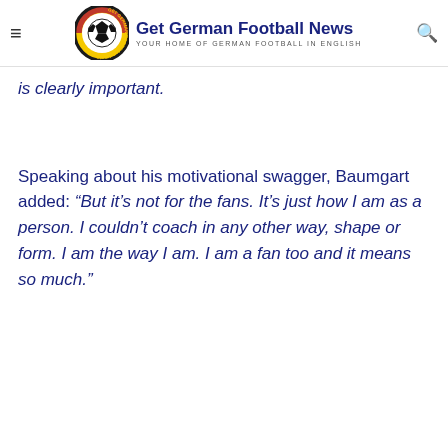Get German Football News — YOUR HOME OF GERMAN FOOTBALL IN ENGLISH
is clearly important.
Speaking about his motivational swagger, Baumgart added: “But it’s not for the fans. It’s just how I am as a person. I couldn’t coach in any other way, shape or form. I am the way I am. I am a fan too and it means so much.”